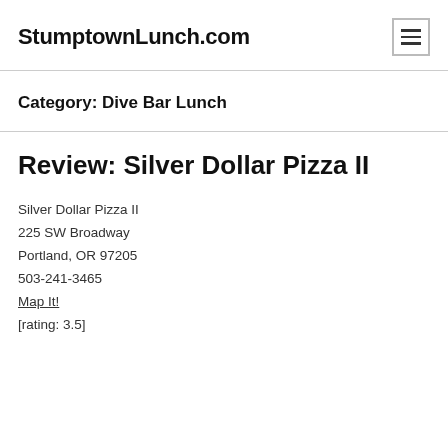StumptownLunch.com
Category: Dive Bar Lunch
Review: Silver Dollar Pizza II
Silver Dollar Pizza II
225 SW Broadway
Portland, OR 97205
503-241-3465
Map It!
[rating: 3.5]